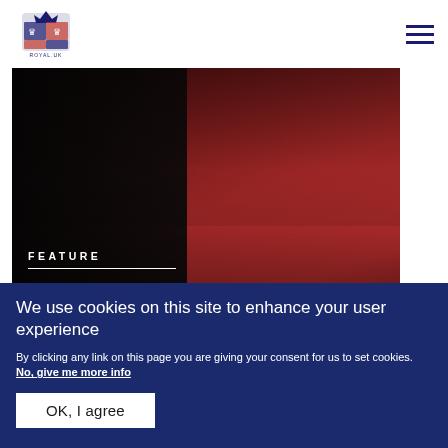Royal.uk logo and navigation menu
[Figure (photo): Photo of the Earl and Countess of Wessex standing together. The Earl is in a dark suit on the left, the Countess is wearing a bright red coat on the right. Overlaid text reads FEATURE and The Earl and Countess of Wessex visit the Baltic States.]
The Earl and Countess of Wessex visit the Baltic States
We use cookies on this site to enhance your user experience
By clicking any link on this page you are giving your consent for us to set cookies. No, give me more info
OK, I agree